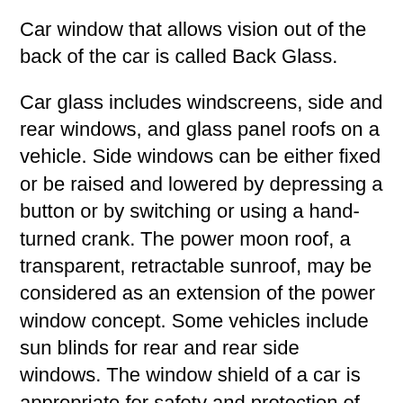Car window that allows vision out of the back of the car is called Back Glass.
Car glass includes windscreens, side and rear windows, and glass panel roofs on a vehicle. Side windows can be either fixed or be raised and lowered by depressing a button or by switching or using a hand-turned crank. The power moon roof, a transparent, retractable sunroof, may be considered as an extension of the power window concept. Some vehicles include sun blinds for rear and rear side windows. The window shield of a car is appropriate for safety and protection of debris in the road. It also comforts the driver as well. The majority of car glass is held in place by glass run channels, which also serve to contain